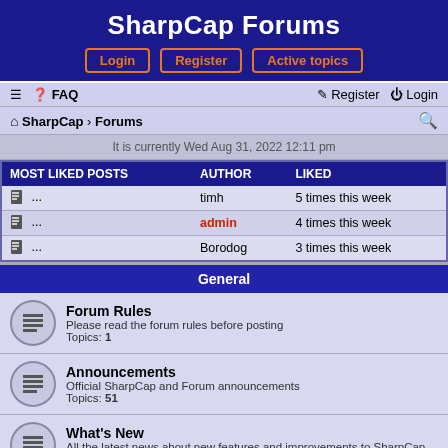SharpCap Forums
Login | Register | Active topics
≡ ? FAQ | Register | Login
SharpCap › Forums
It is currently Wed Aug 31, 2022 12:11 pm
| MOST LIKED POSTS | AUTHOR | LIKED |
| --- | --- | --- |
| ... | timh | 5 times this week |
| ... | admin | 4 times this week |
| ... | Borodog | 3 times this week |
General
Forum Rules
Please read the forum rules before posting
Topics: 1
Announcements
Official SharpCap and Forum announcements
Topics: 51
What's New
All the latest news about new features and improvements to SharpCap
Topics: 18
Gallery